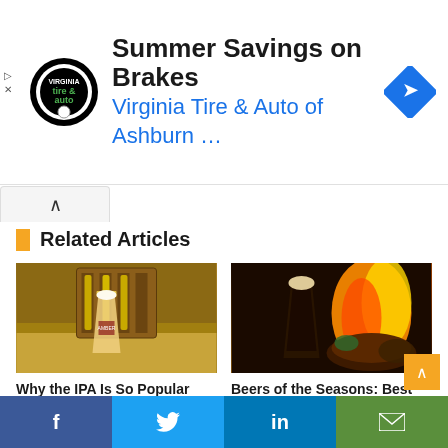[Figure (other): Advertisement banner: Virginia Tire & Auto of Ashburn - Summer Savings on Brakes, with circular logo and navigation arrow icon]
Related Articles
[Figure (photo): Beer photo: a pint glass of IPA beer in front of a wooden beer carrier with bottles, on a bed of grain/hops]
Why the IPA Is So Popular and Why You Might Not Like Them
August 13, 2020
[Figure (photo): Beer photo: dark beer in a glass with flames and a steak/food in the background]
Beers of the Seasons: Best Winter Beers
March 18, 2020